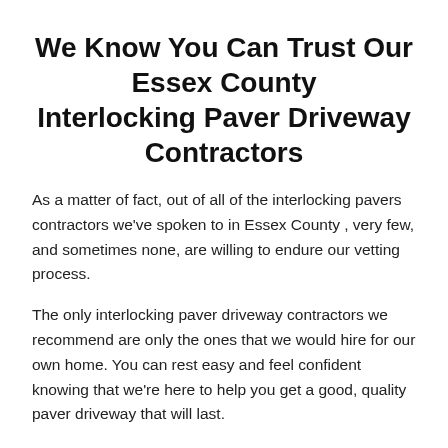We Know You Can Trust Our Essex County Interlocking Paver Driveway Contractors
As a matter of fact, out of all of the interlocking pavers contractors we've spoken to in Essex County , very few, and sometimes none, are willing to endure our vetting process.
The only interlocking paver driveway contractors we recommend are only the ones that we would hire for our own home. You can rest easy and feel confident knowing that we're here to help you get a good, quality paver driveway that will last.